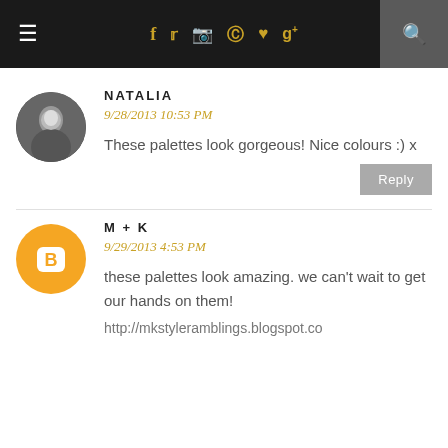Navigation bar with hamburger menu, social icons (f, twitter, instagram, pinterest, heart, g+), and search
NATALIA
9/28/2013 10:53 PM
These palettes look gorgeous! Nice colours :) x
M + K
9/29/2013 4:53 PM
these palettes look amazing. we can't wait to get our hands on them!
http://mkstyleramblings.blogspot.co